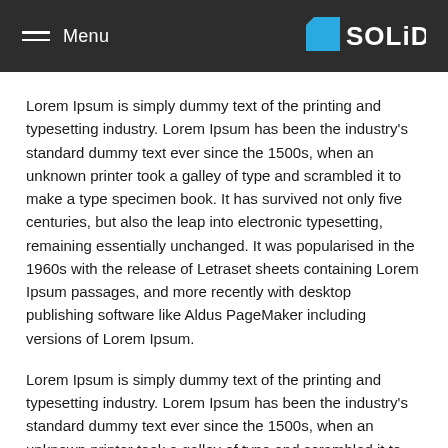Menu | SOLID.
Lorem Ipsum is simply dummy text of the printing and typesetting industry. Lorem Ipsum has been the industry's standard dummy text ever since the 1500s, when an unknown printer took a galley of type and scrambled it to make a type specimen book. It has survived not only five centuries, but also the leap into electronic typesetting, remaining essentially unchanged. It was popularised in the 1960s with the release of Letraset sheets containing Lorem Ipsum passages, and more recently with desktop publishing software like Aldus PageMaker including versions of Lorem Ipsum.
Lorem Ipsum is simply dummy text of the printing and typesetting industry. Lorem Ipsum has been the industry's standard dummy text ever since the 1500s, when an unknown printer took a galley of type and scrambled it to make a type specimen book. It has survived not only five centuries, but also the leap into electronic typesetting,